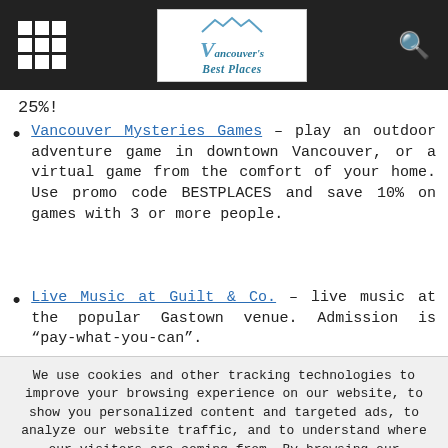Vancouver's Best Places
25%!
Vancouver Mysteries Games – play an outdoor adventure game in downtown Vancouver, or a virtual game from the comfort of your home. Use promo code BESTPLACES and save 10% on games with 3 or more people.
Live Music at Guilt & Co. – live music at the popular Gastown venue. Admission is "pay-what-you-can".
We use cookies and other tracking technologies to improve your browsing experience on our website, to show you personalized content and targeted ads, to analyze our website traffic, and to understand where our visitors are coming from. By browsing our website, you consent to our use of cookies and other tracking technologies.